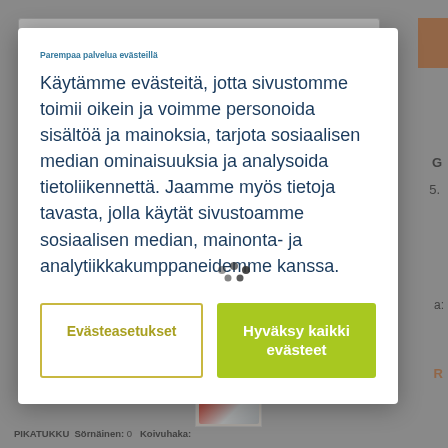[Figure (screenshot): Background website page showing a Finnish grocery/wholesale website with product listings, partially obscured by a cookie consent modal overlay.]
Parempaa palvelua evästeillä
Käytämme evästeitä, jotta sivustomme toimii oikein ja voimme personoida sisältöä ja mainoksia, tarjota sosiaalisen median ominaisuuksia ja analysoida tietoliikennettä. Jaamme myös tietoja tavasta, jolla käytät sivustoamme sosiaalisen median, mainonta- ja analytiikkakumppaneidemme kanssa.
Evästeasetukset
Hyväksy kaikki evästeet
Sales unit: €1.21
Crate Contains: €2.42
PIKATUKKU  Sörnäinen: 0  Koivuhaka: